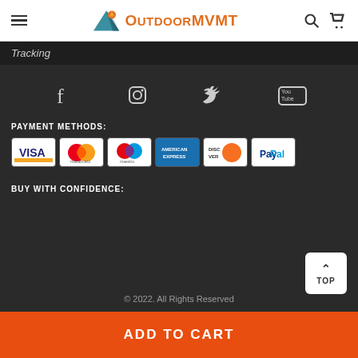OutdoorMVMT
Tracking
[Figure (infographic): Social media icons: Facebook, Instagram, Twitter, YouTube]
PAYMENT METHODS:
[Figure (infographic): Payment method logos: Visa, Mastercard, Maestro, American Express, Discover, PayPal]
BUY WITH CONFIDENCE:
© 2022. All Rights Reserved
ADD TO CART